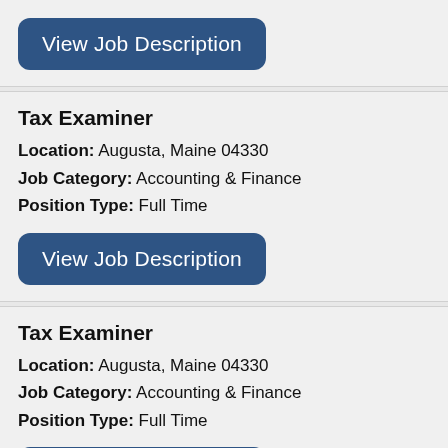[Figure (screenshot): View Job Description button at top, partially visible card]
Tax Examiner
Location: Augusta, Maine 04330
Job Category: Accounting & Finance
Position Type: Full Time
[Figure (screenshot): View Job Description button]
Tax Examiner
Location: Augusta, Maine 04330
Job Category: Accounting & Finance
Position Type: Full Time
[Figure (screenshot): View Job Description button]